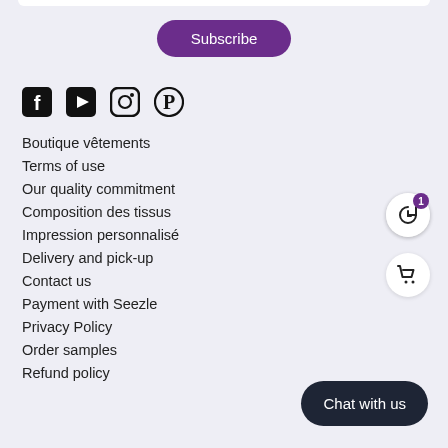Subscribe
[Figure (infographic): Social media icons: Facebook, YouTube, Instagram, Pinterest]
Boutique vêtements
Terms of use
Our quality commitment
Composition des tissus
Impression personnalisé
Delivery and pick-up
Contact us
Payment with Seezle
Privacy Policy
Order samples
Refund policy
[Figure (infographic): History/recent activity icon with badge showing 1]
[Figure (infographic): Shopping cart icon]
Chat with us